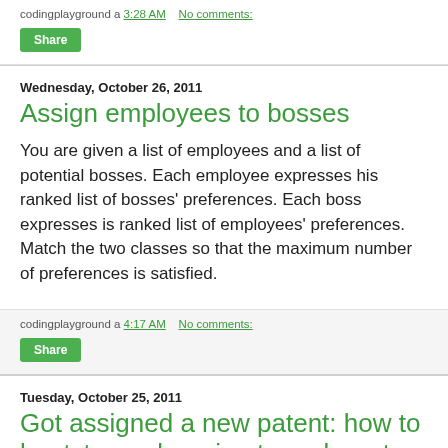codingplayground a 3:28 AM   No comments:
Share
Wednesday, October 26, 2011
Assign employees to bosses
You are given a list of employees and a list of potential bosses. Each employee expresses his ranked list of bosses' preferences. Each boss expresses is ranked list of employees' preferences. Match the two classes so that the maximum number of preferences is satisfied.
codingplayground a 4:17 AM   No comments:
Share
Tuesday, October 25, 2011
Got assigned a new patent: how to bootstrap a learning to rank system